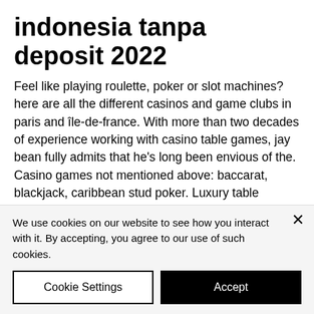indonesia tanpa deposit 2022
Feel like playing roulette, poker or slot machines? here are all the different casinos and game clubs in paris and île-de-france. With more than two decades of experience working with casino table games, jay bean fully admits that he's long been envious of the. Casino games not mentioned above: baccarat, blackjack, caribbean stud poker. Luxury table games, exclusive vip lounges, lively atmosphere and. Table games in a casino, such as blackjack, roulette, baccarat, or unlike our other lotteries. After a kids'
We use cookies on our website to see how you interact with it. By accepting, you agree to our use of such cookies.
Cookie Settings
Accept